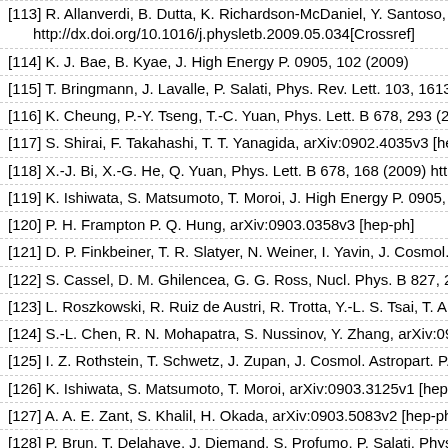[113] R. Allanverdi, B. Dutta, K. Richardson-McDaniel, Y. Santoso, http://dx.doi.org/10.1016/j.physletb.2009.05.034[Crossref]
[114] K. J. Bae, B. Kyae, J. High Energy P. 0905, 102 (2009)
[115] T. Bringmann, J. Lavalle, P. Salati, Phys. Rev. Lett. 103, 16130
[116] K. Cheung, P.-Y. Tseng, T.-C. Yuan, Phys. Lett. B 678, 293 (20
[117] S. Shirai, F. Takahashi, T. T. Yanagida, arXiv:0902.4035v3 [hep
[118] X.-J. Bi, X.-G. He, Q. Yuan, Phys. Lett. B 678, 168 (2009) http:
[119] K. Ishiwata, S. Matsumoto, T. Moroi, J. High Energy P. 0905, 1
[120] P. H. Frampton P. Q. Hung, arXiv:0903.0358v3 [hep-ph]
[121] D. P. Finkbeiner, T. R. Slatyer, N. Weiner, I. Yavin, J. Cosmol. A
[122] S. Cassel, D. M. Ghilencea, G. G. Ross, Nucl. Phys. B 827, 25
[123] L. Roszkowski, R. Ruiz de Austri, R. Trotta, Y.-L. S. Tsai, T. A.
[124] S.-L. Chen, R. N. Mohapatra, S. Nussinov, Y. Zhang, arXiv:090
[125] I. Z. Rothstein, T. Schwetz, J. Zupan, J. Cosmol. Astropart. P. 0
[126] K. Ishiwata, S. Matsumoto, T. Moroi, arXiv:0903.3125v1 [hep-p
[127] A. A. E. Zant, S. Khalil, H. Okada, arXiv:0903.5083v2 [hep-ph]
[128] P. Brun, T. Delahaye, J. Diemand, S. Profumo, P. Salati, Phys.
[129] J. McDonald, Phys. Rev. Lett. 103, 151301 (2009) http://dx.doi
[130] R. E. Lingenfelter, J. C. Higdon, R. E. Rothschild, Phys. Rev. L
[131] V. Barger, Y. Gao, W. Y. Keung, D. Marfadia, G. Shaughnessy http://dx.doi.org/10.1016/j.physletb.2009.06.030[Crossref]